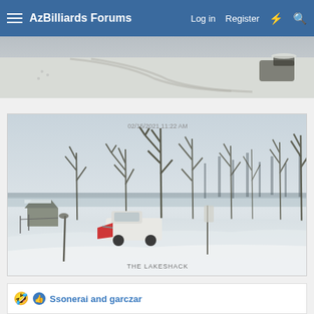AzBilliards Forums  Log in  Register
[Figure (photo): Snow-covered road or surface shot from above, winter scene, partially cropped]
[Figure (photo): Winter outdoor scene with bare trees, deep snow, a pickup truck with snowplow, a frozen lake in the background, shovel in foreground. Timestamp: 02/15/2021 11:22 AM. Caption: THE LAKESHACK]
THE LAKESHACK
Ssonerai and garczar